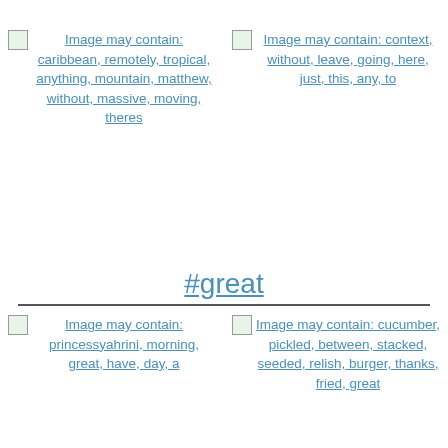[Figure (photo): Image placeholder with link text: Image may contain: caribbean, remotely, tropical, anything, mountain, matthew, without, massive, moving, theres]
[Figure (photo): Image placeholder with link text: Image may contain: context, without, leave, going, here, just, this, any, to]
#great
[Figure (photo): Image placeholder with link text: Image may contain: princessyahrini, morning, great, have, day, a]
[Figure (photo): Image placeholder with link text: Image may contain: cucumber, pickled, between, stacked, seeded, relish, burger, thanks, fried, great]